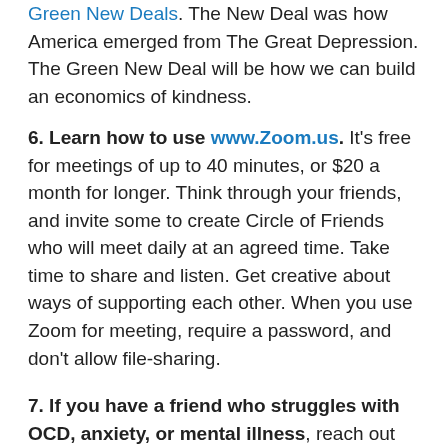Green New Deals. The New Deal was how America emerged from The Great Depression. The Green New Deal will be how we can build an economics of kindness.
6. Learn how to use www.Zoom.us. It's free for meetings of up to 40 minutes, or $20 a month for longer. Think through your friends, and invite some to create Circle of Friends who will meet daily at an agreed time. Take time to share and listen. Get creative about ways of supporting each other. When you use Zoom for meeting, require a password, and don't allow file-sharing.
7. If you have a friend who struggles with OCD, anxiety, or mental illness, reach out give her or him special attention. Call, Skype, Zoom or Facetime regularly, and encourage her or him to use these Fifty Ways. If you have a friend who is in prison, reach out. If you have Latino friends in America who are afraid that ICE agents...